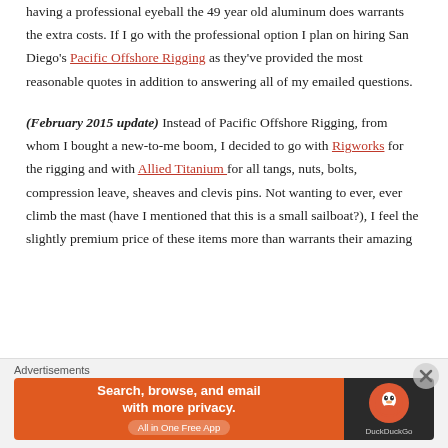having a professional eyeball the 49 year old aluminum does warrants the extra costs. If I go with the professional option I plan on hiring San Diego's Pacific Offshore Rigging as they've provided the most reasonable quotes in addition to answering all of my emailed questions.
(February 2015 update) Instead of Pacific Offshore Rigging, from whom I bought a new-to-me boom, I decided to go with Rigworks for the rigging and with Allied Titanium for all tangs, nuts, bolts, compression leave, sheaves and clevis pins. Not wanting to ever, ever climb the mast (have I mentioned that this is a small sailboat?), I feel the slightly premium price of these items more than warrants their amazing
Advertisements
[Figure (other): DuckDuckGo advertisement banner: orange left panel with text 'Search, browse, and email with more privacy. All in One Free App' and dark right panel with DuckDuckGo duck logo and brand name.]